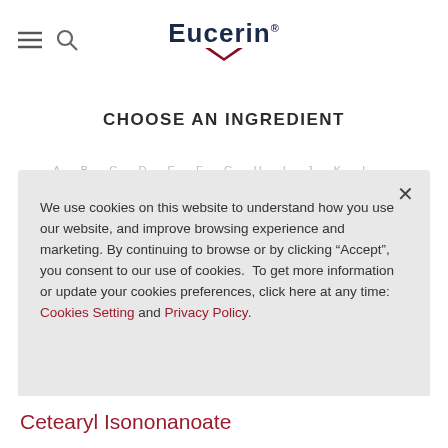[Figure (logo): Eucerin brand logo with dark navy bold text and a dark red chevron/swoosh beneath]
CHOOSE AN INGREDIENT
We use cookies on this website to understand how you use our website, and improve browsing experience and marketing. By continuing to browse or by clicking “Accept”, you consent to our use of cookies.  To get more information or update your cookies preferences, click here at any time: Cookies Setting and Privacy Policy.
Cetearyl Isononanoate